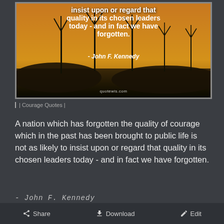[Figure (illustration): Quote image with warm amber/orange background showing wind turbine silhouettes at dusk. White bold text overlaid: 'insist upon or regard that quality in its chosen leaders today - and in fact we have forgotten.' followed by attribution '- John F. Kennedy'. Watermark 'quotewis.com' at bottom.]
| Courage Quotes |
A nation which has forgotten the quality of courage which in the past has been brought to public life is not as likely to insist upon or regard that quality in its chosen leaders today - and in fact we have forgotten.
- John F. Kennedy
Share   Download   Edit